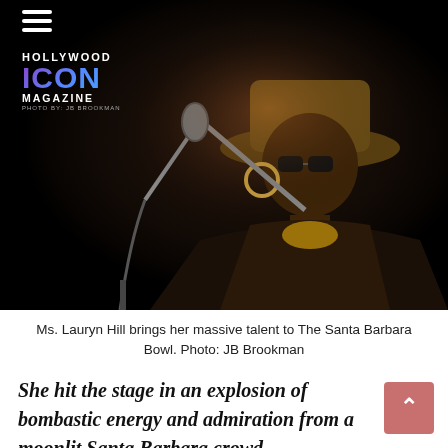[Figure (photo): Concert performance photo of Ms. Lauryn Hill on stage at the Santa Barbara Bowl, wearing a wide-brimmed hat and sunglasses, performing at a microphone stand, dark stage background. Hollywood Icon Magazine logo and photographer credit 'PHOTO BY: JB BROOKMAN' overlaid in top-left corner.]
Ms. Lauryn Hill brings her massive talent to The Santa Barbara Bowl. Photo: JB Brookman
She hit the stage in an explosion of bombastic energy and admiration from a moonlit Santa Barbara crowd...